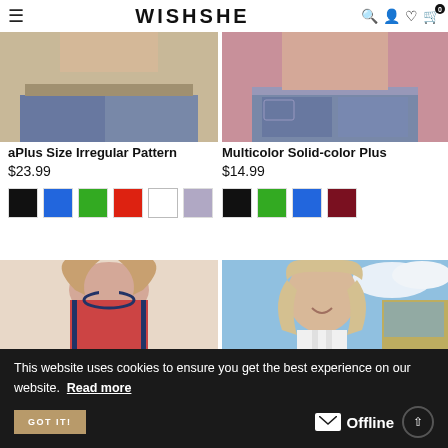WISHSHE
[Figure (photo): Two product photos side by side: left shows jeans/lower body with beige top, right shows denim shorts on model with pinkish-red background]
aPlus Size Irregular Pattern
$23.99
Multicolor Solid-color Plus
$14.99
[Figure (infographic): Color swatches for left product: black, blue, green, red, white, lavender]
[Figure (infographic): Color swatches for right product: black, green, blue, dark red]
[Figure (photo): Two product photos side by side: left shows woman in red tank top, right shows blonde woman smiling outdoors]
This website uses cookies to ensure you get the best experience on our website.  Read more
GOT IT!
Offline